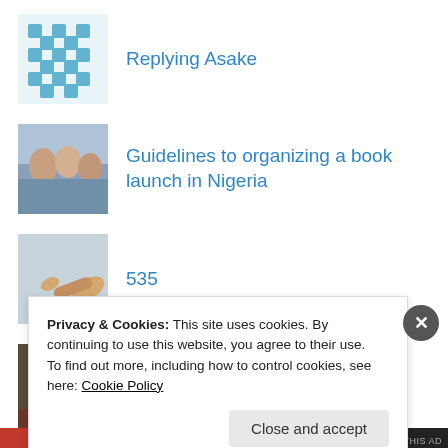Replying Asake
Guidelines to organizing a book launch in Nigeria
535
Back from Tai
Codename : Ali
Privacy & Cookies: This site uses cookies. By continuing to use this website, you agree to their use.
To find out more, including how to control cookies, see here: Cookie Policy
Close and accept